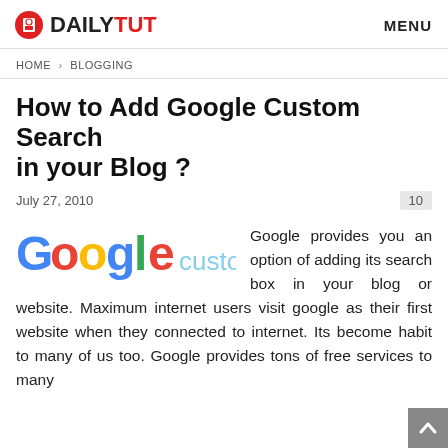DAILYTUT | MENU
HOME > BLOGGING
How to Add Google Custom Search in your Blog ?
July 27, 2010
10
[Figure (logo): Google custom search logo/wordmark]
Google provides you an option of adding its search box in your blog or website. Maximum internet users visit google as their first website when they connected to internet. Its become habit to many of us too. Google provides tons of free services to many